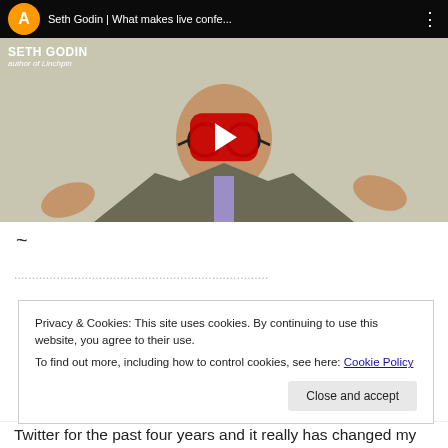[Figure (screenshot): YouTube video thumbnail showing Seth Godin (bald man with round glasses, grey suit, purple tie, hands raised) with title bar 'Seth Godin | What makes live confe...' and red play button overlay]
~
Privacy & Cookies: This site uses cookies. By continuing to use this website, you agree to their use.
To find out more, including how to control cookies, see here: Cookie Policy
Twitter for the past four years and it really has changed my